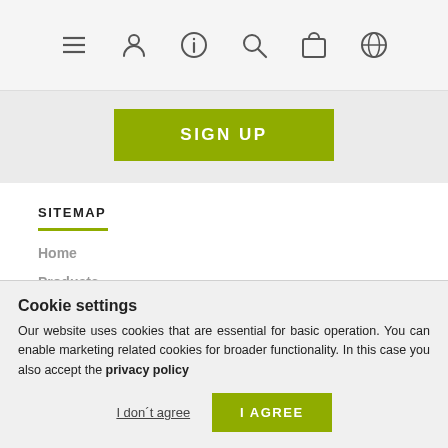Navigation bar with menu, user, info, search, cart, and language icons
SIGN UP
SITEMAP
Home
Products
CUSTOMER ACCOUNT
Cookie settings
Our website uses cookies that are essential for basic operation. You can enable marketing related cookies for broader functionality. In this case you also accept the privacy policy
I don't agree
I AGREE